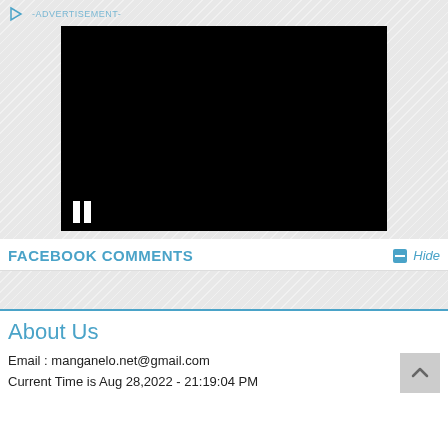[Figure (screenshot): Advertisement video player area with black screen and pause button, shown above a hatched gray background. Play icon and '-ADVERTISEMENT-' label at top.]
FACEBOOK COMMENTS
Hide
About Us
Email : manganelo.net@gmail.com
Current Time is Aug 28,2022 - 21:19:04 PM